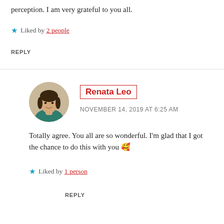perception. I am very grateful to you all.
★ Liked by 2 people
REPLY
[Figure (photo): Circular avatar photo of Renata Leo, a woman with dark hair wearing a teal/green top]
Renata Leo
NOVEMBER 14, 2019 AT 6:25 AM
Totally agree. You all are so wonderful. I'm glad that I got the chance to do this with you 🤩
★ Liked by 1 person
REPLY